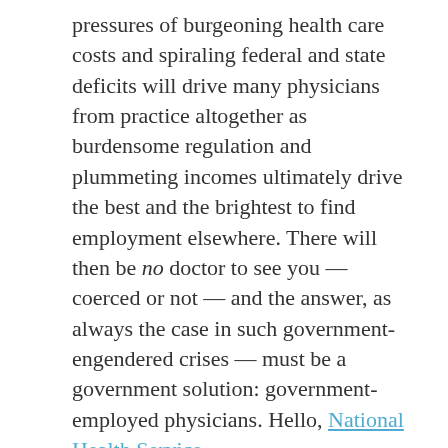pressures of burgeoning health care costs and spiraling federal and state deficits will drive many physicians from practice altogether as burdensome regulation and plummeting incomes ultimately drive the best and the brightest to find employment elsewhere. There will then be no doctor to see you — coerced or not — and the answer, as always the case in such government-engendered crises — must be a government solution: government-employed physicians. Hello, National Health Service.
Hyperventilatory, catastrophizing rhetoric? Right-wing extremist fear-mongering? Hysterical overreaction to loss of income? No, none of the above. Mark my words, we are witnessing the disassembly of the American system of medicine — a system which, for its many flaws, has provided the best and most advanced health care the world